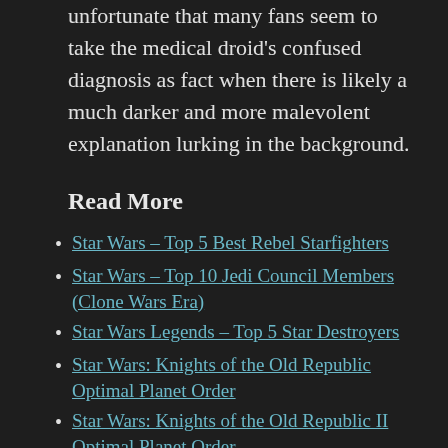unfortunate that many fans seem to take the medical droid's confused diagnosis as fact when there is likely a much darker and more malevolent explanation lurking in the background.
Read More
Star Wars – Top 5 Best Rebel Starfighters
Star Wars – Top 10 Jedi Council Members (Clone Wars Era)
Star Wars Legends – Top 5 Star Destroyers
Star Wars: Knights of the Old Republic Optimal Planet Order
Star Wars: Knights of the Old Republic II Optimal Planet Order